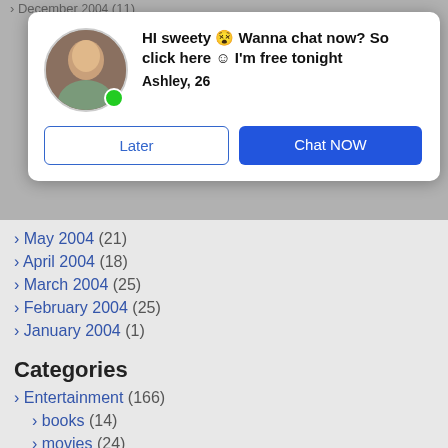› December 2004 (11)
[Figure (screenshot): Ad popup modal with avatar photo of a woman, green online dot, headline 'HI sweety 😧 Wanna chat now? So click here 🙂 I'm free tonight', name 'Ashley, 26', and two buttons: 'Later' and 'Chat NOW']
› May 2004 (21)
› April 2004 (18)
› March 2004 (25)
› February 2004 (25)
› January 2004 (1)
Categories
› Entertainment (166)
› books (14)
› movies (24)
› music (45)
› radio (1)
› sports (15)
› television (17)
› Video Games (55)